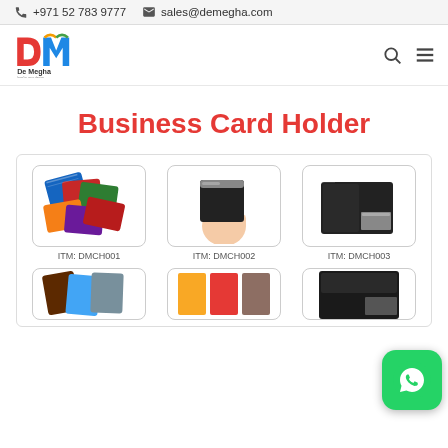+971 52 783 9777  sales@demegha.com
[Figure (logo): De Megha logo with colorful DM letters and tagline 'lead in your desire']
Business Card Holder
[Figure (photo): Product grid showing business card holders: DMCH001 (colorful leather holders), DMCH002 (black metallic hand-held), DMCH003 (black book-style), and two more partially visible below]
ITM: DMCH001
ITM: DMCH002
ITM: DMCH003